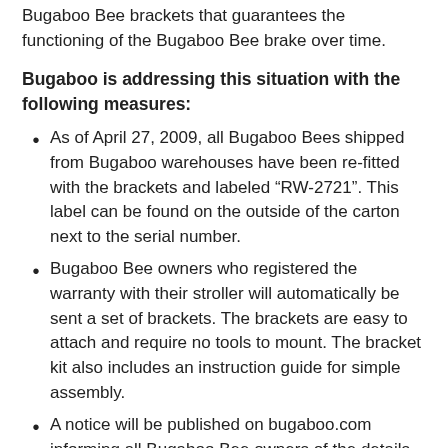Bugaboo Bee brackets that guarantees the functioning of the Bugaboo Bee brake over time.
Bugaboo is addressing this situation with the following measures:
As of April 27, 2009, all Bugaboo Bees shipped from Bugaboo warehouses have been re-fitted with the brackets and labeled “RW-2721”. This label can be found on the outside of the carton next to the serial number.
Bugaboo Bee owners who registered the warranty with their stroller will automatically be sent a set of brackets. The brackets are easy to attach and require no tools to mount. The bracket kit also includes an instruction guide for simple assembly.
A notice will be published on bugaboo.com informing all Bugaboo Bee owners of the details needed to order a set of brackets at no charge.
You may also order bracket kits free of charge to